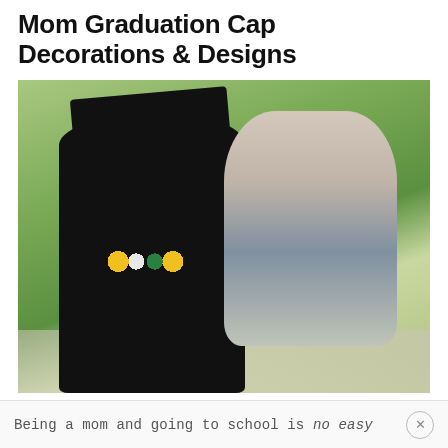Mom Graduation Cap Decorations & Designs
[Figure (photo): A woman wearing a black graduation cap and gown, holding a young toddler child. The woman is smiling at the child and wearing a colorful beaded necklace with yellow, white, and green beads. They are outdoors with green trees/park in the background and a pathway visible.]
Being a mom and going to school is no easy